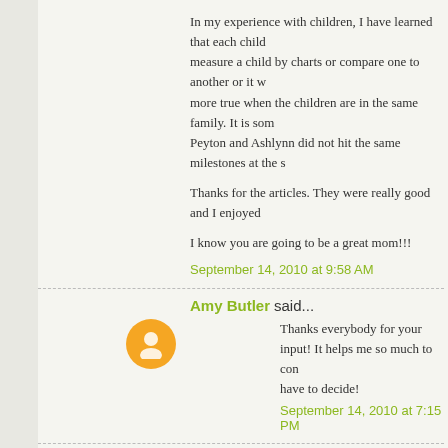In my experience with children, I have learned that each child... measure a child by charts or compare one to another or it w... more true when the children are in the same family. It is som... Peyton and Ashlynn did not hit the same milestones at the s...
Thanks for the articles. They were really good and I enjoyed...
I know you are going to be a great mom!!!
September 14, 2010 at 9:58 AM
Amy Butler said...
Thanks everybody for your input! It helps me so much to con... have to decide!
September 14, 2010 at 7:15 PM
Tifany said...
I just came across this. We didn't potty train in the way that... forth between the bathroom and using pull ups and doing hi... "Toilet Training In Less Than A Day" (It's a book - here it is a... http://...ToiletTrainingInLessThanADay(d...